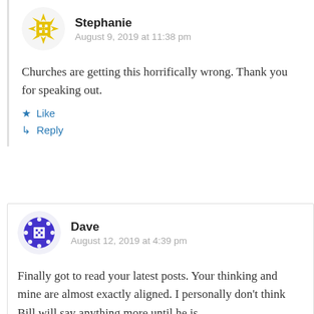[Figure (illustration): Yellow geometric snowflake-style avatar icon for user Stephanie]
Stephanie
August 9, 2019 at 11:38 pm
Churches are getting this horrifically wrong. Thank you for speaking out.
Like
Reply
[Figure (illustration): Purple geometric snowflake-style avatar icon for user Dave]
Dave
August 12, 2019 at 4:39 pm
Finally got to read your latest posts. Your thinking and mine are almost exactly aligned. I personally don't think Bill will say anything more until he is